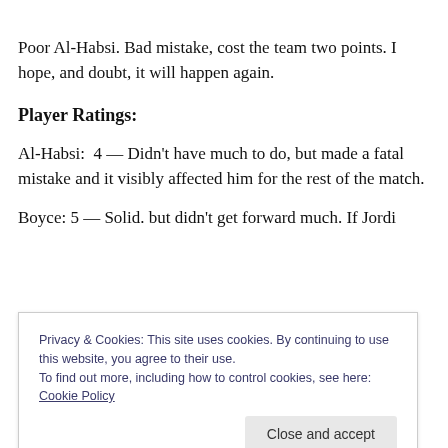Poor Al-Habsi. Bad mistake, cost the team two points. I hope, and doubt, it will happen again.
Player Ratings:
Al-Habsi:  4 — Didn't have much to do, but made a fatal mistake and it visibly affected him for the rest of the match.
Boyce: 5 — Solid. but didn't get forward much. If Jordi
Privacy & Cookies: This site uses cookies. By continuing to use this website, you agree to their use.
To find out more, including how to control cookies, see here: Cookie Policy
much. though it appeared he and Lopez had not in a bar